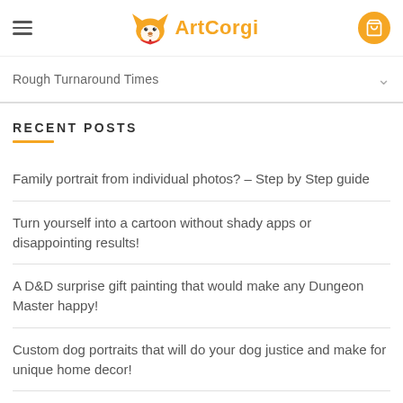ArtCorgi
Rough Turnaround Times
RECENT POSTS
Family portrait from individual photos? – Step by Step guide
Turn yourself into a cartoon without shady apps or disappointing results!
A D&D surprise gift painting that would make any Dungeon Master happy!
Custom dog portraits that will do your dog justice and make for unique home decor!
How to commission art that looks exactly like you